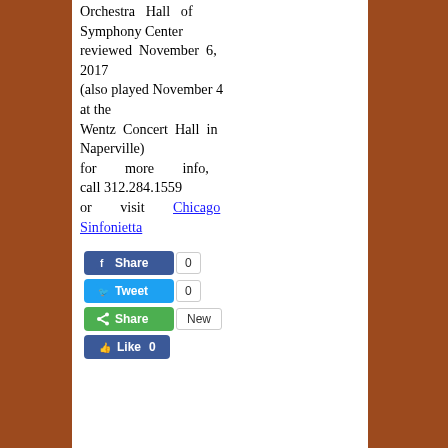Orchestra Hall of Symphony Center reviewed November 6, 2017 (also played November 4 at the Wentz Concert Hall in Naperville) for more info, call 312.284.1559 or visit Chicago Sinfonietta
[Figure (other): Social sharing buttons: Facebook Share (0), Twitter Tweet (0), Green Share (New), Facebook Like (0)]